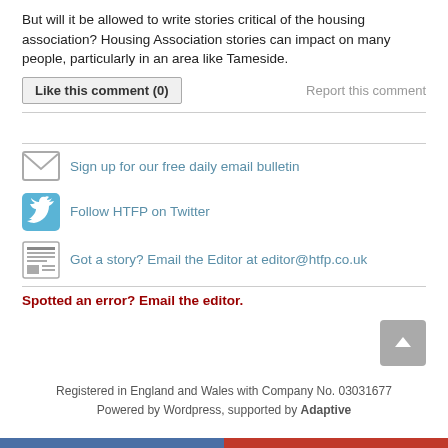But will it be allowed to write stories critical of the housing association? Housing Association stories can impact on many people, particularly in an area like Tameside.
Like this comment (0)
Report this comment
Sign up for our free daily email bulletin
Follow HTFP on Twitter
Got a story? Email the Editor at editor@htfp.co.uk
Spotted an error? Email the editor.
Registered in England and Wales with Company No. 03031677
Powered by Wordpress, supported by Adaptive